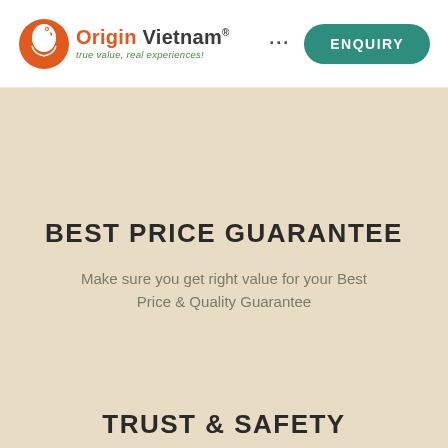Origin Vietnam® — true value, real experiences! ENQUIRY
BEST PRICE GUARANTEE
Make sure you get right value for your Best Price & Quality Guarantee
TRUST & SAFETY